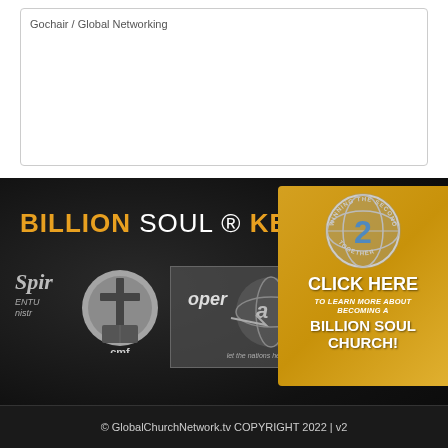Gochair / Global Networking
BILLION SOUL ® KEY PA
[Figure (logo): Spirit Ventures Ministries partial logo on dark background]
[Figure (logo): CMF cross logo circle in grayscale]
[Figure (logo): Operation Gap logo with globe and tagline 'let the nations hear his voice']
[Figure (infographic): Gold box with globe badge showing number 2, CLICK HERE text, TO LEARN MORE ABOUT BECOMING A, BILLION SOUL CHURCH!]
© GlobalChurchNetwork.tv COPYRIGHT 2022 | v2